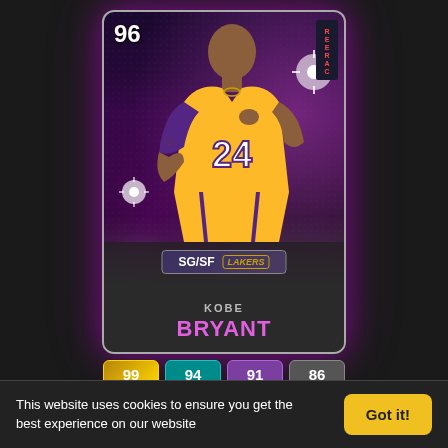[Figure (illustration): NBA 2K MyTeam card for Kobe Bryant, rated 96 overall, Career Highlights card, SG/SF position, Lakers team, wearing jersey #24, yellow Lakers uniform, pink/purple glowing background. Player figure shown from waist up.]
99  94  91  86
'16 Kobe Bryant
This website uses cookies to ensure you get the best experience on our website
Got it!